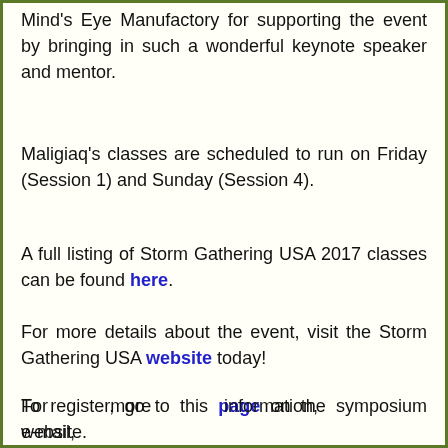Mind's Eye Manufactory for supporting the event by bringing in such a wonderful keynote speaker and mentor.
Maligiaq's classes are scheduled to run on Friday (Session 1) and Sunday (Session 4).
A full listing of Storm Gathering USA 2017 classes can be found here.
For more details about the event, visit the Storm Gathering USA website today!
To register, go to this page on the symposium website.
For more information, e-mail, info@greenlandorbust.org.